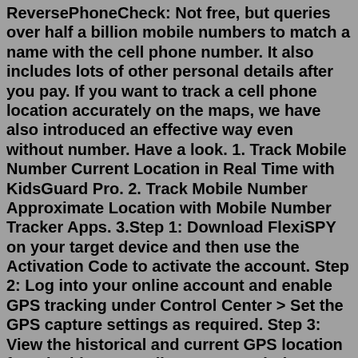ReversePhoneCheck: Not free, but queries over half a billion mobile numbers to match a name with the cell phone number. It also includes lots of other personal details after you pay. If you want to track a cell phone location accurately on the maps, we have also introduced an effective way even without number. Have a look. 1. Track Mobile Number Current Location in Real Time with KidsGuard Pro. 2. Track Mobile Number Approximate Location with Mobile Number Tracker Apps. 3.Step 1: Download FlexiSPY on your target device and then use the Activation Code to activate the account. Step 2: Log into your online account and enable GPS tracking under Control Center > Set the GPS capture settings as required. Step 3: View the historical and current GPS location from inside your online account.Find your phone. Lost your phone? Try some simple steps, like showing the location or locking the screen, to help you secure it. Sign In to Start. Search. Clear search. support tricentis Free Phone Tracer can do all the